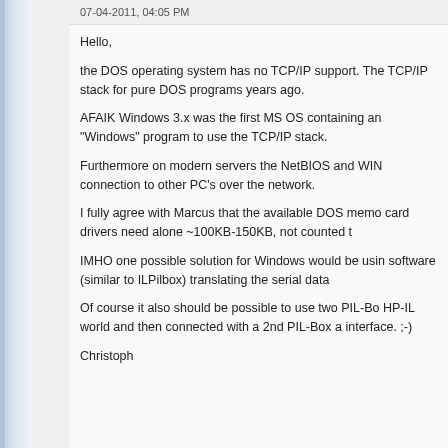07-04-2011, 04:05 PM
Hello,
the DOS operating system has no TCP/IP support. The TCP/IP stack for pure DOS programs years ago.
AFAIK Windows 3.x was the first MS OS containing an "Windows" program to use the TCP/IP stack.
Furthermore on modern servers the NetBIOS and WIN connection to other PC's over the network.
I fully agree with Marcus that the available DOS memo card drivers need alone ~100KB-150KB, not counted t
IMHO one possible solution for Windows would be usin software (similar to ILPilbox) translating the serial data
Of course it also should be possible to use two PIL-Bo HP-IL world and then connected with a 2nd PIL-Box a interface. ;-)
Christoph